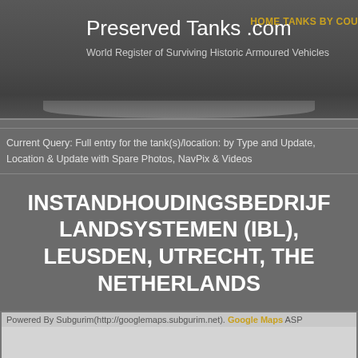Preserved Tanks .com
World Register of Surviving Historic Armoured Vehicles
HOME TANKS BY COU
Current Query: Full entry for the tank(s)/location: by Type and Update, Location & Update with Spare Photos, NavPix & Videos
INSTANDHOUDINGSBEDRIJF LANDSYSTEMEN (IBL), LEUSDEN, UTRECHT, THE NETHERLANDS
[Figure (map): Google Maps embed showing location of Instandhoudingsbedrijf Landsystemen (IBL), Leusden, Utrecht, The Netherlands. Map area appears as a light grey placeholder. Powered by Subgurim(http://googlemaps.subgurim.net). Google Maps ASP.]